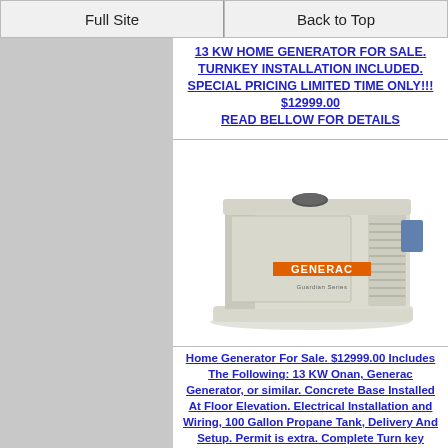Full Site | Back to Top
13 KW HOME GENERATOR FOR SALE. TURNKEY INSTALLATION INCLUDED. SPECIAL PRICING LIMITED TIME ONLY!!! $12999.00 READ BELLOW FOR DETAILS
[Figure (photo): Generac Guardian Series home standby generator unit, beige/tan metal enclosure, shown from front-right angle]
Home Generator For Sale. $12999.00 Includes The Following: 13 KW Onan, Generac Generator, or similar. Concrete Base Installed At Floor Elevation. Electrical Installation and Wiring, 100 Gallon Propane Tank, Delivery And Setup. Permit is extra. Complete Turn key